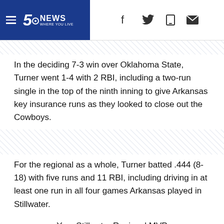5 News Where You Live
In the deciding 7-3 win over Oklahoma State, Turner went 1-4 with 2 RBI, including a two-run single in the top of the ninth inning to give Arkansas key insurance runs as they looked to close out the Cowboys.
For the regional as a whole, Turner batted .444 (8-18) with five runs and 11 RBI, including driving in at least one run in all four games Arkansas played in Stillwater.
Your Stillwater Regional MVP
pic.twitter.com/6YG31DJ3vV
— Arkansas Baseball (@RazorbackBSB) June 7